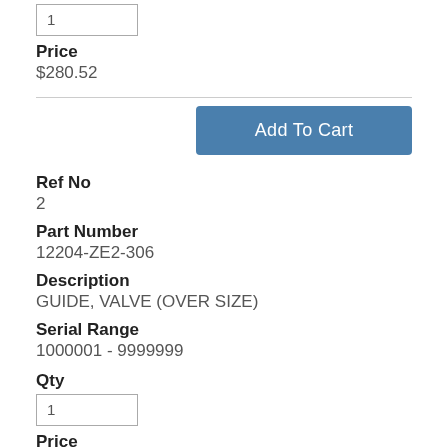1
Price
$280.52
Add To Cart
Ref No
2
Part Number
12204-ZE2-306
Description
GUIDE, VALVE (OVER SIZE)
Serial Range
1000001 - 9999999
Qty
1
Price
$12.28
Add To Cart